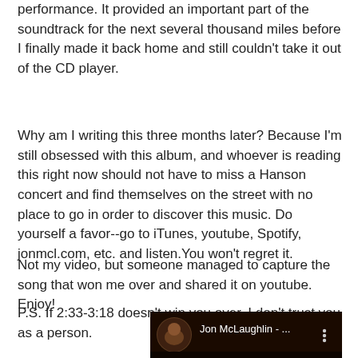performance. It provided an important part of the soundtrack for the next several thousand miles before I finally made it back home and still couldn't take it out of the CD player.
Why am I writing this three months later? Because I'm still obsessed with this album, and whoever is reading this right now should not have to miss a Hanson concert and find themselves on the street with no place to go in order to discover this music. Do yourself a favor--go to iTunes, youtube, Spotify, jonmcl.com, etc. and listen.You won't regret it.
Not my video, but someone managed to capture the song that won me over and shared it on youtube. Enjoy!
P.S. If 2:33-3:18 doesn't win you over, I don't trust you as a person.
[Figure (screenshot): YouTube video thumbnail showing Jon McLaughlin - ... with a circular profile image on the left and three-dot menu on the right, dark background]